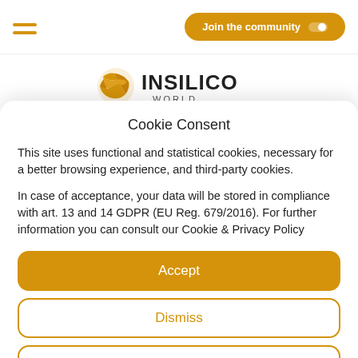Insilico World navigation bar with hamburger menu and Join the community button
[Figure (logo): Insilico World logo with orange geometric sphere icon and INSILICO text]
Cookie Consent
This site uses functional and statistical cookies, necessary for a better browsing experience, and third-party cookies.
In case of acceptance, your data will be stored in compliance with art. 13 and 14 GDPR (EU Reg. 679/2016). For further information you can consult our Cookie & Privacy Policy
Accept
Dismiss
Configure